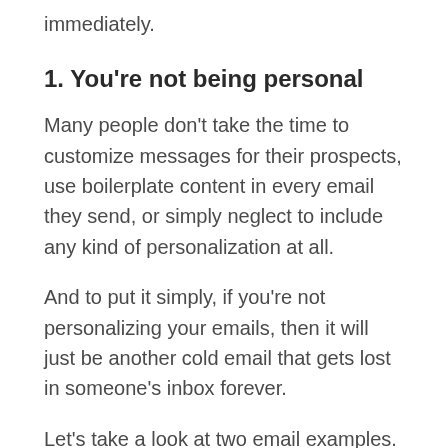immediately.
1. You're not being personal
Many people don't take the time to customize messages for their prospects, use boilerplate content in every email they send, or simply neglect to include any kind of personalization at all.
And to put it simply, if you're not personalizing your emails, then it will just be another cold email that gets lost in someone's inbox forever.
Let's take a look at two email examples.